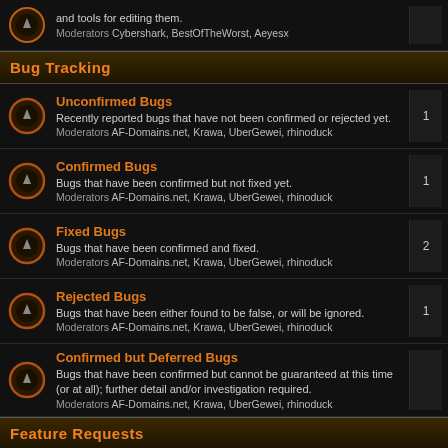and tools for editing them.
Moderators Cybershark, BestOfTheWorst, Aeyesx
Bug Tracking
Unconfirmed Bugs - Recently reported bugs that have not been confirmed or rejected yet. Moderators AF-Domains.net, Krawa, UberGewei, rhinoduck
Confirmed Bugs - Bugs that have been confirmed but not fixed yet. Moderators AF-Domains.net, Krawa, UberGewei, rhinoduck
Fixed Bugs - Bugs that have been confirmed and fixed. Moderators AF-Domains.net, Krawa, UberGewei, rhinoduck
Rejected Bugs - Bugs that have been either found to be false, or will be ignored. Moderators AF-Domains.net, Krawa, UberGewei, rhinoduck
Confirmed but Deferred Bugs - Bugs that have been confirmed but cannot be guaranteed at this time (or at all); further detail and/or investigation required. Moderators AF-Domains.net, Krawa, UberGewei, rhinoduck
Feature Requests
Pending Requests - Recent requests that have not been accepted or rejected yet. Moderators AF-Domains.net, Krawa, UberGewei, rhinoduck
Accepted / To be Implemented Requests - Requests that have been accepted but not implemented yet. Moderators AF-Domains.net, Krawa, UberGewei, rhinoduck
Implemented Requests